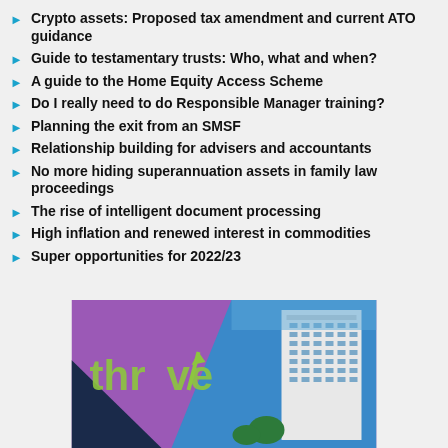Crypto assets: Proposed tax amendment and current ATO guidance
Guide to testamentary trusts: Who, what and when?
A guide to the Home Equity Access Scheme
Do I really need to do Responsible Manager training?
Planning the exit from an SMSF
Relationship building for advisers and accountants
No more hiding superannuation assets in family law proceedings
The rise of intelligent document processing
High inflation and renewed interest in commodities
Super opportunities for 2022/23
[Figure (photo): Thrive conference promotional image showing a purple/blue diagonal design with the word 'thrive' in green text with an upward arrow, alongside a photo of a tall hotel or office building against a blue sky.]